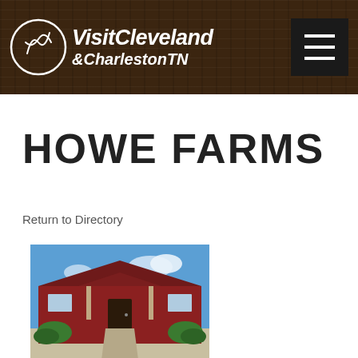VisitCleveland &CharlestonTN
HOWE FARMS
Return to Directory
[Figure (photo): Exterior photo of Howe Farms building — a red barn-style structure with a covered entrance portico, flanked by green shrubs, under a blue sky with light clouds.]
Howe Farms is nestled in its own little wonderland of amazing mountain views, lush fields, scattered woods and